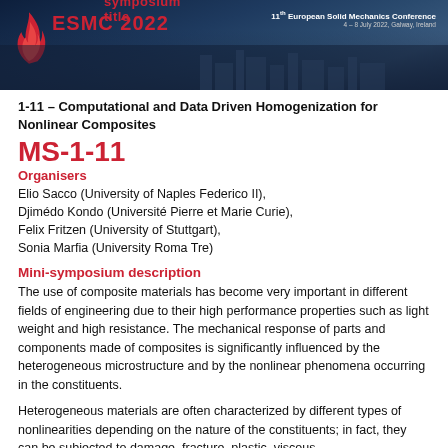[Figure (illustration): ESMC 2022 conference header banner with dark blue city skyline background, flame logo on left, ESMC 2022 text, '11th European Solid Mechanics Conference' text, and 'Mini-symposium title' in red overlay text]
1-11 – Computational and Data Driven Homogenization for Nonlinear Composites
MS-1-11
Organisers
Elio Sacco (University of Naples Federico II), Djimédo Kondo (Université Pierre et Marie Curie), Felix Fritzen (University of Stuttgart), Sonia Marfia (University Roma Tre)
Mini-symposium description
The use of composite materials has become very important in different fields of engineering due to their high performance properties such as light weight and high resistance. The mechanical response of parts and components made of composites is significantly influenced by the heterogeneous microstructure and by the nonlinear phenomena occurring in the constituents.
Heterogeneous materials are often characterized by different types of nonlinearities depending on the nature of the constituents; in fact, they can be subjected to damage, fracture, plastic, viscous